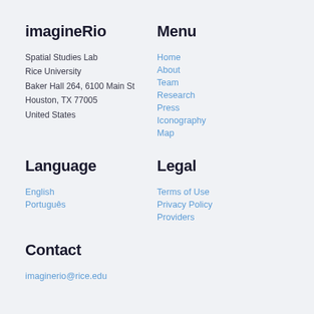imagineRio
Menu
Spatial Studies Lab
Rice University
Baker Hall 264, 6100 Main St
Houston, TX 77005
United States
Home
About
Team
Research
Press
Iconography
Map
Language
Legal
English
Português
Terms of Use
Privacy Policy
Providers
Contact
imaginerio@rice.edu